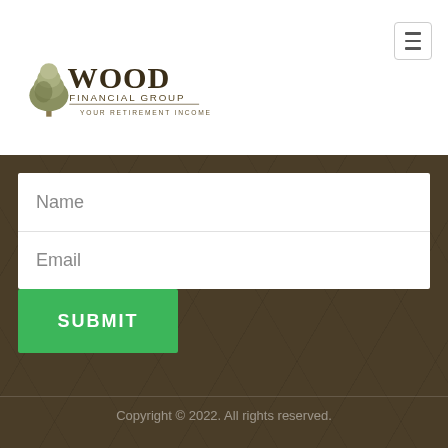[Figure (logo): Wood Financial Group logo with tree illustration and tagline YOUR RETIREMENT INCOME EXPERTS]
Name
Email
SUBMIT
Copyright © 2022. All rights reserved.